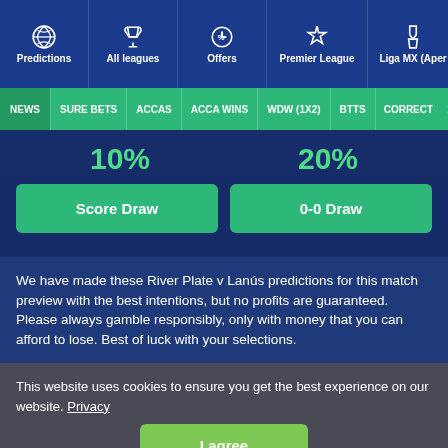Predictions | All leagues | Offers | Premier League | Liga MX (Aper
NEWS | SURE BETS | ACCAS | ACCA WINS | WDW (1X2) | BTTS | CORRECT
10%
20%
Score Draw
0-0 Draw
We have made these River Plate v Lanús predictions for this match preview with the best intentions, but no profits are guaranteed. Please always gamble responsibly, only with money that you can afford to lose. Best of luck with your selections.
This website uses cookies to ensure you get the best experience on our website. Privacy
I agree